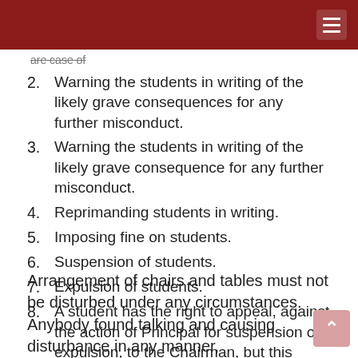2. Warning the students in writing of the likely grave consequences for any further misconduct.
3. Warning the students in writing of the likely grave consequence for any further misconduct.
4. Reprimanding students in writing.
5. Imposing fine on students.
6. Suspension of students.
7. Expulsion of students.
8. A student has the right to appeal, against the action of Principal for suspension or expulsion, to the Chairman, but this appeal is not applicable in ragging cases. He should appeal in writing to the Chairman’s office.
Arrangement of chairs and tables must not be disturbed under any circumstances. Anybody found talking and causing disturbance in any manner,